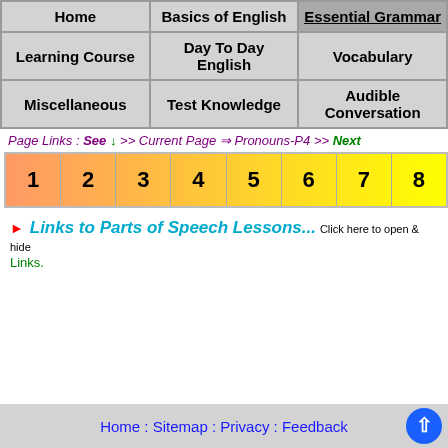| Home | Basics of English | Essential Grammar |
| --- | --- | --- |
| Learning Course | Day To Day English | Vocabulary |
| Miscellaneous | Test Knowledge | Audible Conversation |
Page Links : See ↓ >> Current Page ⇒ Pronouns-P4 >> Next
[Figure (other): Navigation number boxes 1 through 8 with orange-to-yellow gradient background]
► Links to Parts of Speech Lessons... Click here to open & hide Links.